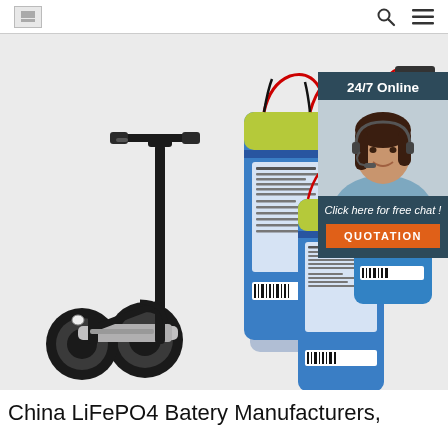[logo] [search icon] [menu icon]
[Figure (photo): Product photo showing an electric kick scooter (black) on the left and three blue LiFePO4 battery packs in the center/right, with a customer service chat overlay in the top-right corner showing a woman with a headset, '24/7 Online' text, 'Click here for free chat!' text, and an orange 'QUOTATION' button.]
China LiFePO4 Batery Manufacturers,